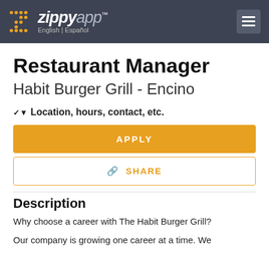ZippyApp™  English | Español
Restaurant Manager
Habit Burger Grill - Encino
Location, hours, contact, etc.
APPLY
SHARE
Description
Why choose a career with The Habit Burger Grill?
Our company is growing one career at a time. We